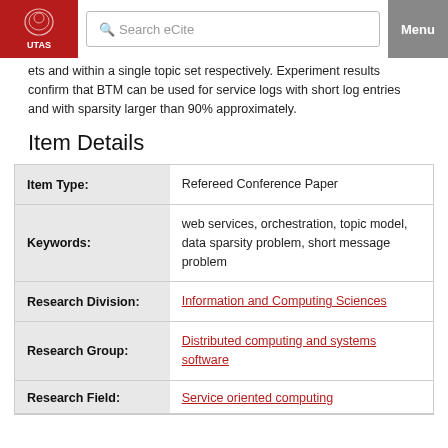Search eCite | Menu
ets and within a single topic set respectively. Experiment results confirm that BTM can be used for service logs with short log entries and with sparsity larger than 90% approximately.
Item Details
| Field | Value |
| --- | --- |
| Item Type: | Refereed Conference Paper |
| Keywords: | web services, orchestration, topic model, data sparsity problem, short message problem |
| Research Division: | Information and Computing Sciences |
| Research Group: | Distributed computing and systems software |
| Research Field: | Service oriented computing |